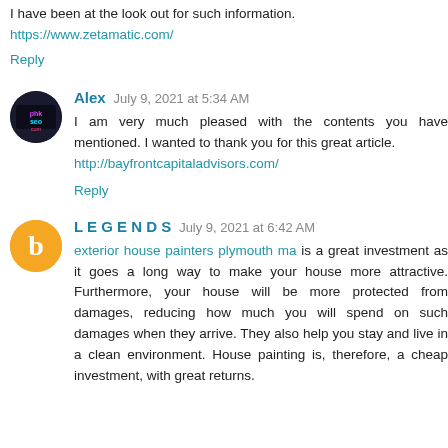I have been at the look out for such information. https://www.zetamatic.com/
Reply
Alex  July 9, 2021 at 5:34 AM
I am very much pleased with the contents you have mentioned. I wanted to thank you for this great article. http://bayfrontcapitaladvisors.com/
Reply
L E G E N D S  July 9, 2021 at 6:42 AM
exterior house painters plymouth ma is a great investment as it goes a long way to make your house more attractive. Furthermore, your house will be more protected from damages, reducing how much you will spend on such damages when they arrive. They also help you stay and live in a clean environment. House painting is, therefore, a cheap investment, with great returns.